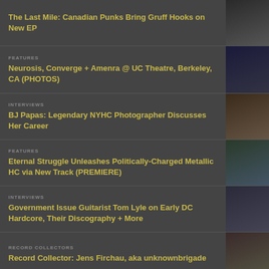The Last Mile: Canadian Punks Bring Gruff Hooks on New EP
FEATURES
Neurosis, Converge + Amenra @ UC Theatre, Berkeley, CA (PHOTOS)
INTERVIEWS
BJ Papas: Legendary NYHC Photographer Discusses Her Career
FEATURES
Eternal Struggle Unleashes Politically-Charged Metallic HC via New Track (PREMIERE)
INTERVIEWS
Government Issue Guitarist Tom Lyle on Early DC Hardcore, Their Discography + More
RECORD COLLECTORS
Record Collector: Jens Firchau, aka unknownbrigade
REVIEWS
Hate Force, Hate Force (Closed Casket Activities, 2019)